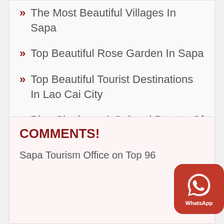The Most Beautiful Villages In Sapa
Top Beautiful Rose Garden In Sapa
Top Beautiful Tourist Destinations In Lao Cai City
Pipe Singing – A Cultural Beauty Of The Ethnic People In Sapa
COMMENTS!
Sapa Tourism Office on Top 96